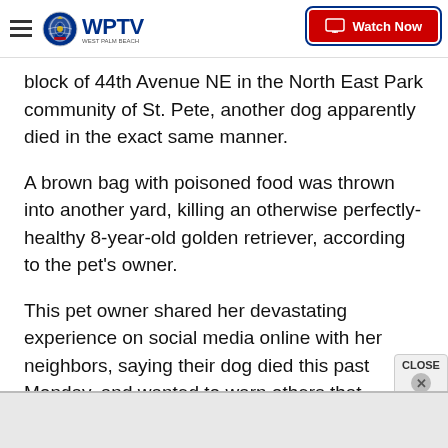WPTV West Palm Beach | Watch Now
block of 44th Avenue NE in the North East Park community of St. Pete, another dog apparently died in the exact same manner.
A brown bag with poisoned food was thrown into another yard, killing an otherwise perfectly-healthy 8-year-old golden retriever, according to the pet's owner.
This pet owner shared her devastating experience on social media online with her neighbors, saying their dog died this past Monday, and wanted to warn others that someone was doing this.